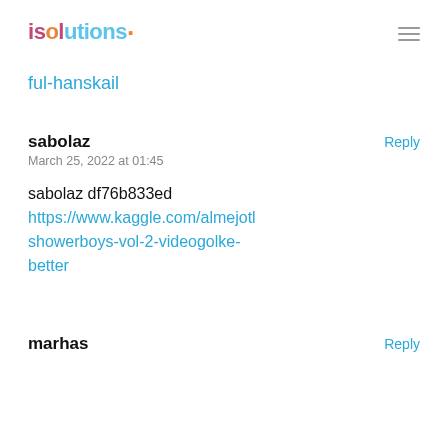isolutions
ful-hanskail
sabolaz
March 25, 2022 at 01:45

sabolaz df76b833ed
https://www.kaggle.com/almejotl/showerboys-vol-2-videogolke-better
marhas